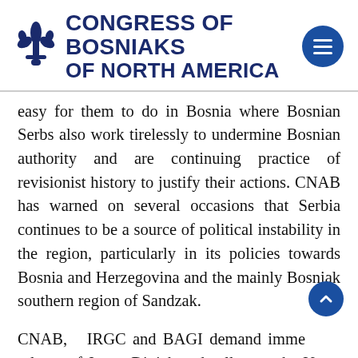[Figure (logo): Congress of Bosniaks of North America logo with fleur-de-lis icon and dark blue text]
easy for them to do in Bosnia where Bosnian Serbs also work tirelessly to undermine Bosnian authority and are continuing practice of revisionist history to justify their actions. CNAB has warned on several occasions that Serbia continues to be a source of political instability in the region, particularly in its policies towards Bosnia and Herzegovina and the mainly Bosniak southern region of Sandzak.
CNAB, IRGC and BAGI demand immediate release of Jovan Divjak and call upon the United Nations, the United States, Canada, and the